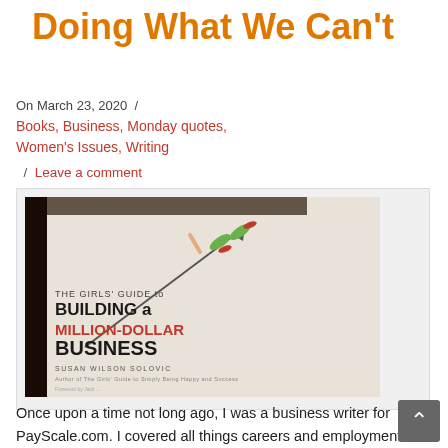Doing What We Can't
On March 23, 2020  /
Books, Business, Monday quotes, Women's Issues, Writing
/ Leave a comment
[Figure (photo): Book cover of 'The Girls' Guide to Building a Million-Dollar Business' by Susan Wilson Solovic, featuring a woman's legs in green tights sliding down a rising graph/arrow line.]
Once upon a time not long ago, I was a business writer for PayScale.com. I covered all things careers and employment in my first full-time, work-from-home gig. After several years as an editor in D.C., covering Congressional